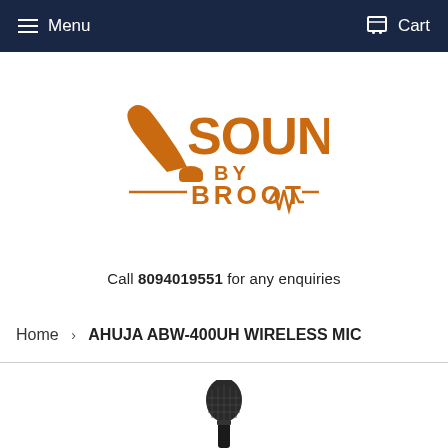Menu  Cart
[Figure (logo): Sound by Broot logo — stylized orange text reading SOUND BY BROOT with a gramophone illustration]
Call 8094019551 for any enquiries
Home › AHUJA ABW-400UH WIRELESS MIC
[Figure (photo): Partial view of a dark/black handheld wireless microphone at the bottom of the page]